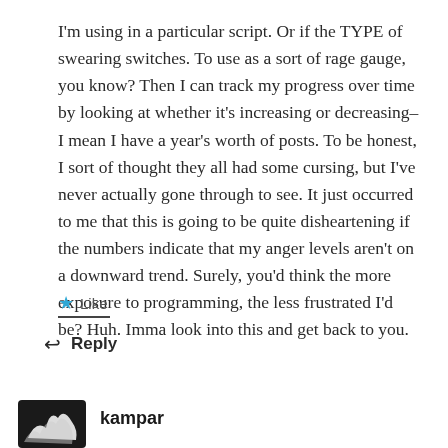I'm using in a particular script. Or if the TYPE of swearing switches. To use as a sort of rage gauge, you know? Then I can track my progress over time by looking at whether it's increasing or decreasing–I mean I have a year's worth of posts. To be honest, I sort of thought they all had some cursing, but I've never actually gone through to see. It just occurred to me that this is going to be quite disheartening if the numbers indicate that my anger levels aren't on a downward trend. Surely, you'd think the more exposure to programming, the less frustrated I'd be? Huh. Imma look into this and get back to you.
Like
Reply
kampar